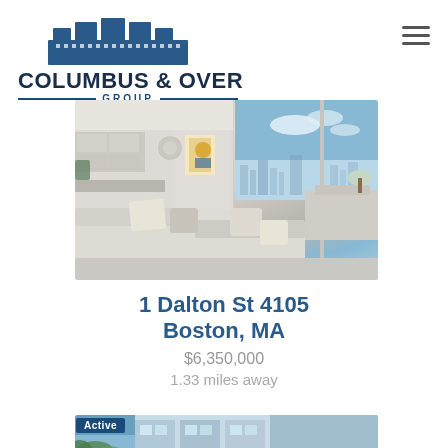[Figure (logo): Columbus & Over Group logo with building illustration and two horizontal lines flanking GROUP text]
[Figure (photo): Interior photo of a luxury high-rise apartment living room with large floor-to-ceiling windows overlooking Boston skyline, featuring a beige sectional sofa with decorative pillows, modern art on wall, kitchen in background]
1 Dalton St 4105
Boston, MA
$6,350,000
1.33 miles away
[Figure (photo): Partially visible photo of another luxury building exterior with Active badge overlay in dark blue]